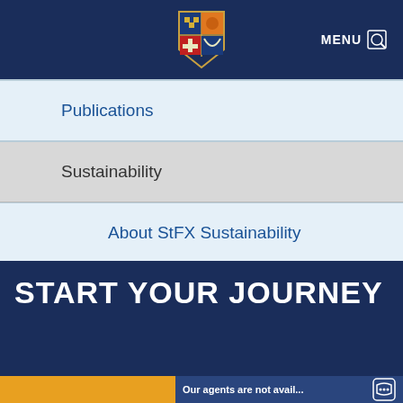StFX University navigation header with logo and MENU button
Publications
Sustainability
About StFX Sustainability
What we're doing
What you can do
START YOUR JOURNEY
Our agents are not avail...